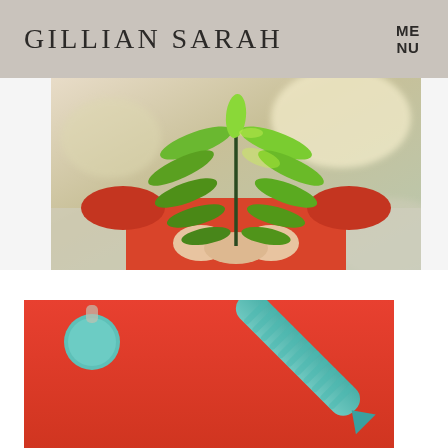GILLIAN SARAH | MENU
[Figure (photo): Person wearing a red top holding a large green fern leaf in front of their face, photographed outdoors with blurred background.]
[Figure (photo): Flat lay on red/coral background with a teal/mint colored pen and a round teal/mint button or badge.]